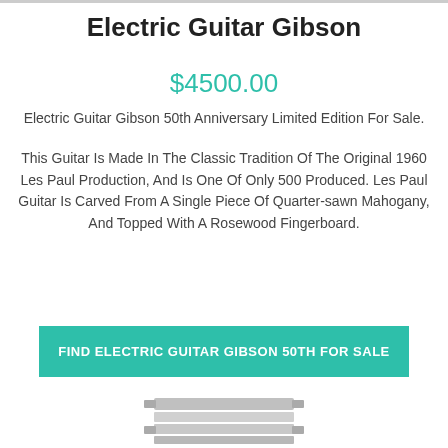Electric Guitar Gibson
$4500.00
Electric Guitar Gibson 50th Anniversary Limited Edition For Sale.
This Guitar Is Made In The Classic Tradition Of The Original 1960 Les Paul Production, And Is One Of Only 500 Produced. Les Paul Guitar Is Carved From A Single Piece Of Quarter-sawn Mahogany, And Topped With A Rosewood Fingerboard.
FIND ELECTRIC GUITAR GIBSON 50TH FOR SALE
[Figure (photo): Partial image of a guitar or guitar-related product at the bottom of the page]